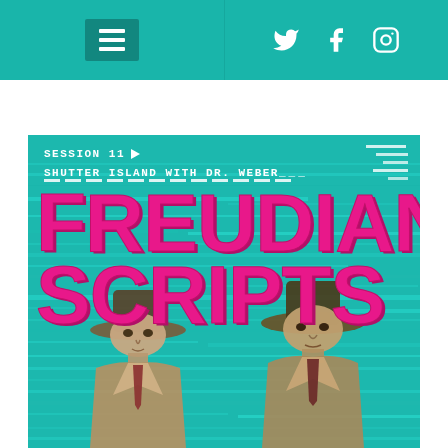Navigation header with hamburger menu and social icons (Twitter, Facebook, Instagram)
[Figure (illustration): Podcast cover art for 'Freudian Scripts' - Session 11: Shutter Island with Dr. Weber. Teal/turquoise background with glitch horizontal line effects. Large bold magenta/pink text reading FREUDIAN SCRIPTS. Two illustrated men in fedora hats and trench coats at the bottom, resembling characters from Shutter Island.]